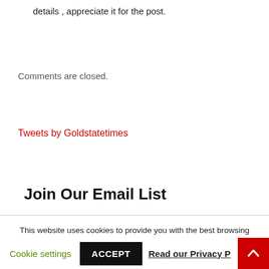details , appreciate it for the post.
Comments are closed.
Tweets by Goldstatetimes
Join Our Email List
This website uses cookies to provide you with the best browsing experience. Find out more about our Privacy Policy or adjust your settings so you can opt-out if you wish.
Cookie settings
ACCEPT
Read our Privacy P